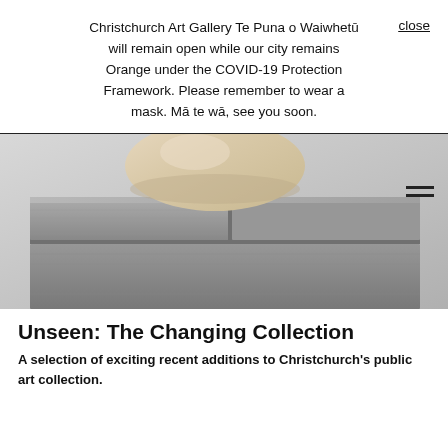Christchurch Art Gallery Te Puna o Waiwhetū will remain open while our city remains Orange under the COVID-19 Protection Framework. Please remember to wear a mask. Mā te wā, see you soon.
[Figure (photo): A smooth rounded stone or egg-shaped sculpture resting on top of a stack of concrete blocks, photographed against a light grey background.]
Unseen: The Changing Collection
A selection of exciting recent additions to Christchurch's public art collection.